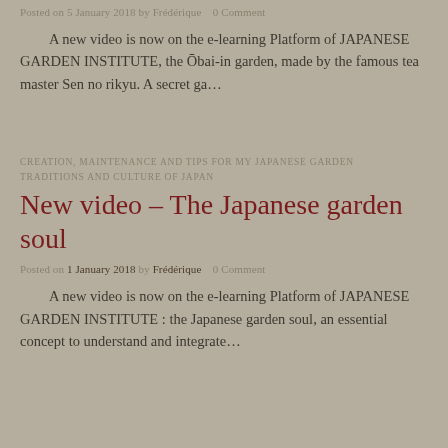Posted on 5 January 2018 by Frédérique   0 Comment
A new video is now on the e-learning Platform of JAPANESE GARDEN INSTITUTE, the Ōbai-in garden, made by the famous tea master Sen no rikyu. A secret ga...
CREATION, MAINTENANCE AND TIPS FOR MY JAPANESE GARDEN    TRADITIONS AND CULTURE OF JAPAN
New video – The Japanese garden soul
Posted on 1 January 2018 by Frédérique   0 Comment
A new video is now on the e-learning Platform of JAPANESE GARDEN INSTITUTE : the Japanese garden soul, an essential concept to understand and integrate...